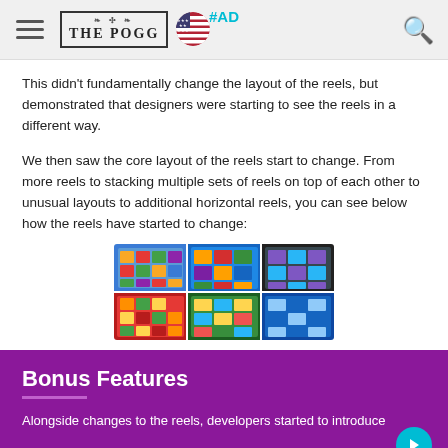#AD | THE POGG logo | US flag | Search icon
This didn’t fundamentally change the layout of the reels, but demonstrated that designers were starting to see the reels in a different way.
We then saw the core layout of the reels start to change. From more reels to stacking multiple sets of reels on top of each other to unusual layouts to additional horizontal reels, you can see below how the reels have started to change:
[Figure (photo): Collage of various slot machine game screenshots showing different reel layouts including grid, stacked, and unusual configurations in colorful game interfaces]
Bonus Features
Alongside changes to the reels, developers started to introduce